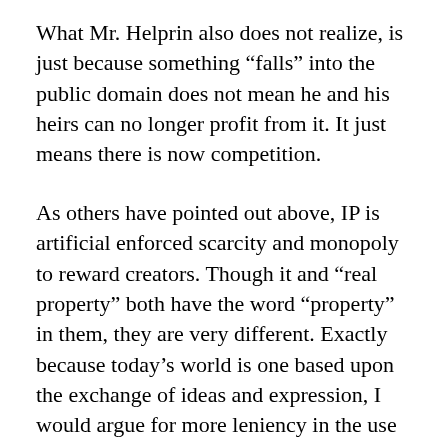What Mr. Helprin also does not realize, is just because something “falls” into the public domain does not mean he and his heirs can no longer profit from it. It just means there is now competition.
As others have pointed out above, IP is artificial enforced scarcity and monopoly to reward creators. Though it and “real property” both have the word “property” in them, they are very different. Exactly because today’s world is one based upon the exchange of ideas and expression, I would argue for more leniency in the use of expressions and ideas, not less.
Mr. Helprin says “Congress is free to extend at